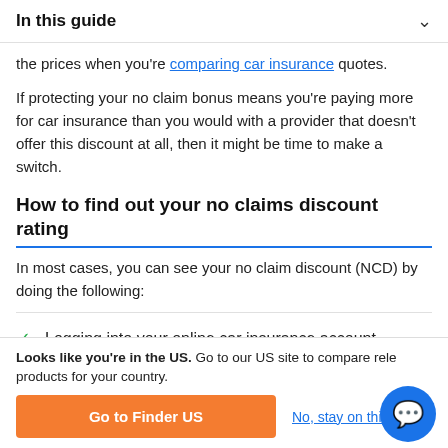In this guide
the prices when you're comparing car insurance quotes.
If protecting your no claim bonus means you're paying more for car insurance than you would with a provider that doesn't offer this discount at all, then it might be time to make a switch.
How to find out your no claims discount rating
In most cases, you can see your no claim discount (NCD) by doing the following:
Logging into your online car insurance account
Looks like you're in the US. Go to our US site to compare rele products for your country.